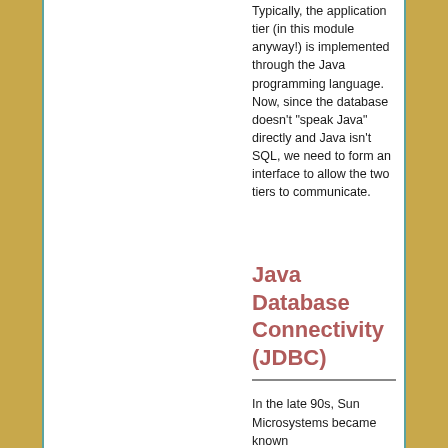Typically, the application tier (in this module anyway!) is implemented through the Java programming language. Now, since the database doesn't "speak Java" directly and Java isn't SQL, we need to form an interface to allow the two tiers to communicate.
Java Database Connectivity (JDBC)
In the late 90s, Sun Microsystems became known